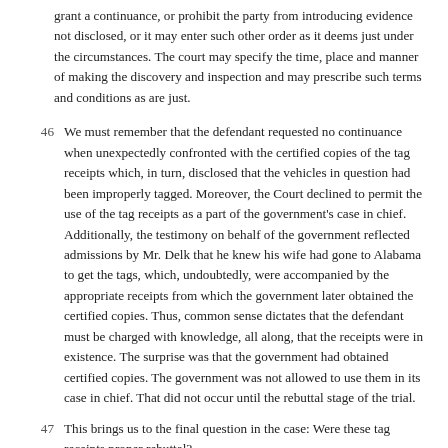grant a continuance, or prohibit the party from introducing evidence not disclosed, or it may enter such other order as it deems just under the circumstances. The court may specify the time, place and manner of making the discovery and inspection and may prescribe such terms and conditions as are just.
46 We must remember that the defendant requested no continuance when unexpectedly confronted with the certified copies of the tag receipts which, in turn, disclosed that the vehicles in question had been improperly tagged. Moreover, the Court declined to permit the use of the tag receipts as a part of the government's case in chief. Additionally, the testimony on behalf of the government reflected admissions by Mr. Delk that he knew his wife had gone to Alabama to get the tags, which, undoubtedly, were accompanied by the appropriate receipts from which the government later obtained the certified copies. Thus, common sense dictates that the defendant must be charged with knowledge, all along, that the receipts were in existence. The surprise was that the government had obtained certified copies. The government was not allowed to use them in its case in chief. That did not occur until the rebuttal stage of the trial.
47 This brings us to the final question in the case: Were these tag receipts proper rebuttal?